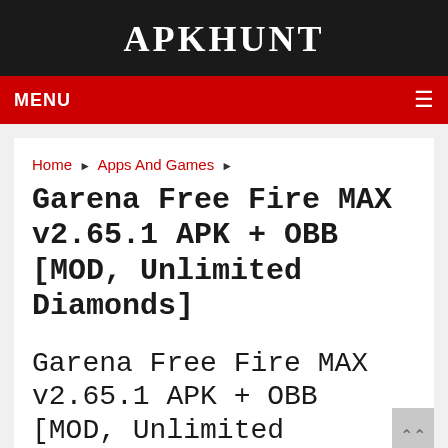APKHUNT
MENU ≡
Home ▶ Apps And Games ▶
Garena Free Fire MAX v2.65.1 APK + OBB [MOD, Unlimited Diamonds]
Garena Free Fire MAX v2.65.1 APK + OBB [MOD, Unlimited